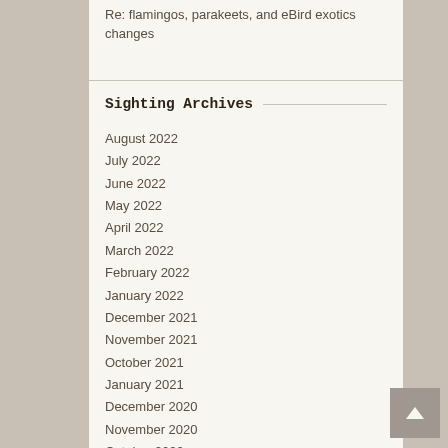Re: flamingos, parakeets, and eBird exotics changes
Sighting Archives
August 2022
July 2022
June 2022
May 2022
April 2022
March 2022
February 2022
January 2022
December 2021
November 2021
October 2021
January 2021
December 2020
November 2020
October 2020
September 2020
August 2020